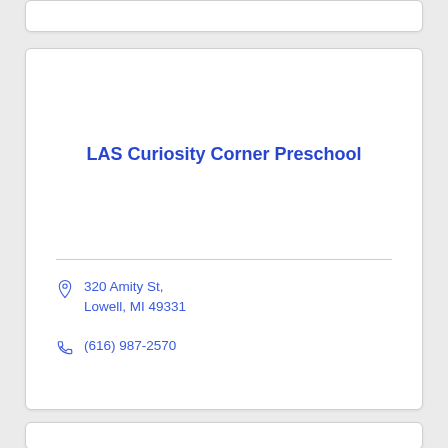LAS Curiosity Corner Preschool
320 Amity St, Lowell, MI 49331
(616) 987-2570